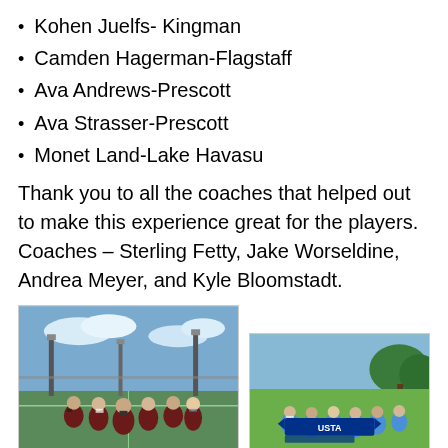Kohen Juelfs- Kingman
Camden Hagerman-Flagstaff
Ava Andrews-Prescott
Ava Strasser-Prescott
Monet Land-Lake Havasu
Thank you to all the coaches that helped out to make this experience great for the players. Coaches – Sterling Fetty, Jake Worseldine, Andrea Meyer, and Kyle Bloomstadt.
[Figure (photo): Group photo of youth tennis players in maroon uniforms on an outdoor tennis court with light poles and blue sky.]
[Figure (photo): Group photo of youth tennis players in light blue uniforms holding a USTA banner on a green lawn.]